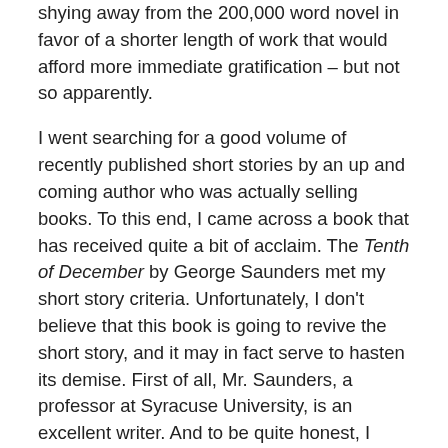shying away from the 200,000 word novel in favor of a shorter length of work that would afford more immediate gratification – but not so apparently.
I went searching for a good volume of recently published short stories by an up and coming author who was actually selling books. To this end, I came across a book that has received quite a bit of acclaim. The Tenth of December by George Saunders met my short story criteria. Unfortunately, I don't believe that this book is going to revive the short story, and it may in fact serve to hasten its demise. First of all, Mr. Saunders, a professor at Syracuse University, is an excellent writer. And to be quite honest, I started out liking this book, and for a short while, I was ready to have the short story moved from the gurney into ICU.
The first story in the collection, "Victory lap," was meant to...